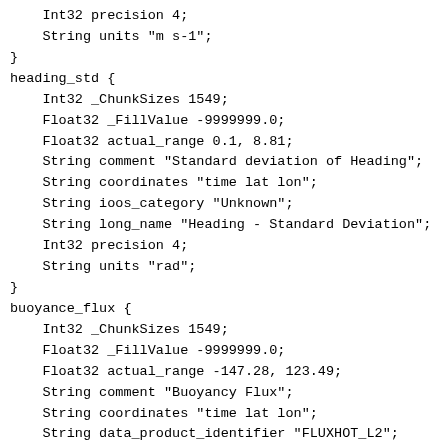Int32 precision 4;
    String units "m s-1";
}
heading_std {
    Int32 _ChunkSizes 1549;
    Float32 _FillValue -9999999.0;
    Float32 actual_range 0.1, 8.81;
    String comment "Standard deviation of Heading";
    String coordinates "time lat lon";
    String ioos_category "Unknown";
    String long_name "Heading - Standard Deviation";
    Int32 precision 4;
    String units "rad";
}
buoyance_flux {
    Int32 _ChunkSizes 1549;
    Float32 _FillValue -9999999.0;
    Float32 actual_range -147.28, 123.49;
    String comment "Buoyancy Flux";
    String coordinates "time lat lon";
    String data_product_identifier "FLUXHOT_L2";
    String ioos_category "Unknown";
    String long_name "Direct Covariance Flux of Heat";
    Int32 precision 4;
    String units "m s-1 K";